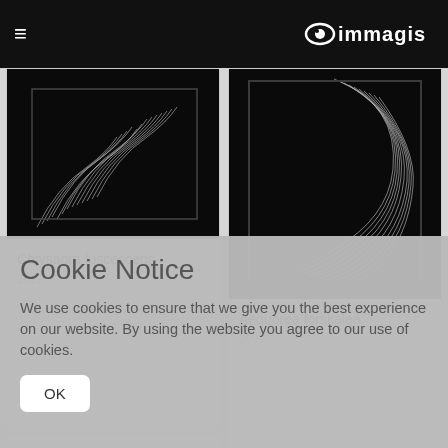immagis — navigation header
[Figure (photo): Black artwork image with white line drawing resembling jellyfish or seaweed — Chtysaora fuscescens 2022]
Chtysaora fuscescens
2022
[Figure (photo): Black artwork image with white curved line drawing resembling Aequorea forskalea jellyfish — 2022]
Aequorea forskalea
2022
Cookie Notice

We use cookies to ensure that we give you the best experience on our website. By using the website you agree to our use of cookies.

OK